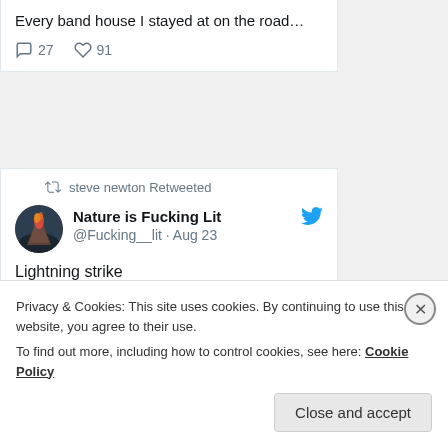Every band house I stayed at on the road…
27  91
steve newton Retweeted
Nature is Fucking Lit @Fucking__lit · Aug 23
Lightning strike
[Figure (photo): A building with a red metal roof with dark trees in background, partially visible lightning strike image]
Privacy & Cookies: This site uses cookies. By continuing to use this website, you agree to their use.
To find out more, including how to control cookies, see here: Cookie Policy
Close and accept